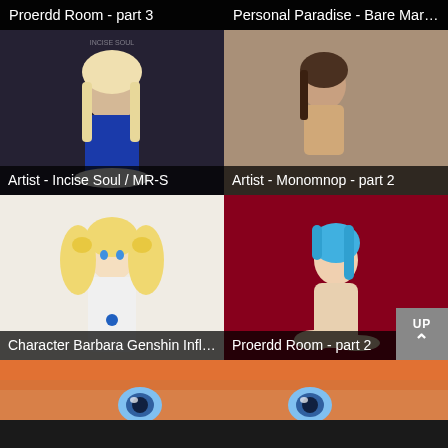Proerdd Room - part 3
Personal Paradise - Bare Marie ...
[Figure (photo): Anime cosplay photo of female character in blue latex outfit with white frilled skirt and long blonde hair]
[Figure (photo): 3D rendered anime-style scene with brown-haired female character]
Artist - Incise Soul / MR-S
Artist - Monomnop - part 2
[Figure (illustration): Anime illustration of female character Barbara from Genshin Impact in white dress with blonde twintails]
[Figure (photo): 3D rendered anime figure of blue-haired girl on red velvet surface]
Character Barbara Genshin Influ...
Proerdd Room - part 2
[Figure (illustration): Partial view of anime illustration showing orange-haired female character with blue eyes]